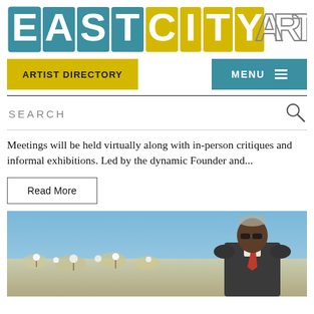EASTCITYART
ARTIST DIRECTORY
MENU ≡
SEARCH
Meetings will be held virtually along with in-person critiques and informal exhibitions. Led by the dynamic Founder and...
Read More
[Figure (photo): An older man in a suit and red tie wearing sunglasses, standing in a cotton field against a blue sky.]